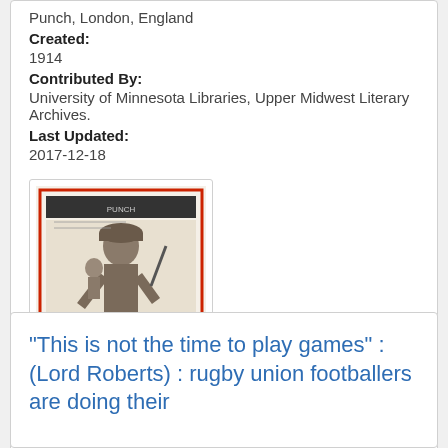Punch, London, England
Created:
1914
Contributed By:
University of Minnesota Libraries, Upper Midwest Literary Archives.
Last Updated:
2017-12-18
[Figure (illustration): Thumbnail image of a historical Punch magazine cover or illustration titled 'TO ARMS!' showing a soldier figure, with red text at the bottom.]
"This is not the time to play games" : (Lord Roberts) : rugby union footballers are doing their